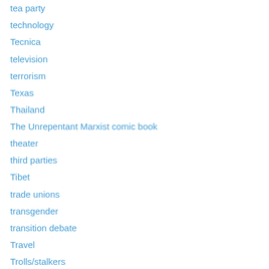tea party
technology
Tecnica
television
terrorism
Texas
Thailand
The Unrepentant Marxist comic book
theater
third parties
Tibet
trade unions
transgender
transition debate
Travel
Trolls/stalkers
Trotskyism
Trump
Tucson killings
Turkey